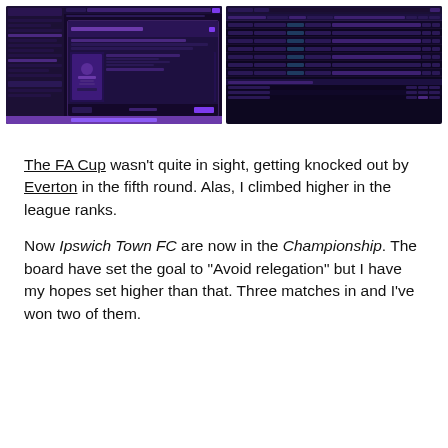[Figure (screenshot): Two side-by-side screenshots from a football management simulation game (Football Manager). Left screenshot shows a game notification/award popup about winning Sky Bet League One trophy. Right screenshot shows a league table or match history data grid.]
The FA Cup wasn't quite in sight, getting knocked out by Everton in the fifth round. Alas, I climbed higher in the league ranks.
Now Ipswich Town FC are now in the Championship. The board have set the goal to “Avoid relegation” but I have my hopes set higher than that. Three matches in and I’ve won two of them.